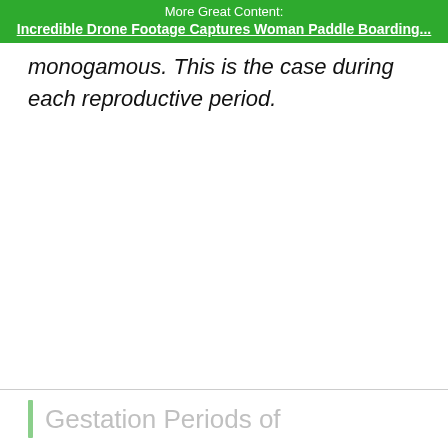More Great Content:
Incredible Drone Footage Captures Woman Paddle Boarding...
monogamous. This is the case during each reproductive period.
Gestation Periods of